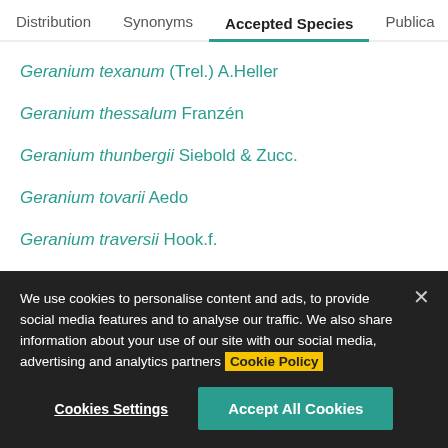Distribution | Synonyms | Accepted Species | Publications
Geranium texanum (Trel.) A.Heller
Geranium thessalum Franzén
Geranium thunbergii Siebold & Zucc.
Geranium tovarii Aedo
Geranium traversii Hook.f.
Geranium trilophum Boiss.
Geranium tripartitum R.Knuth
We use cookies to personalise content and ads, to provide social media features and to analyse our traffic. We also share information about your use of our site with our social media, advertising and analytics partners Cookie Policy
Cookies Settings | Accept All Cookies